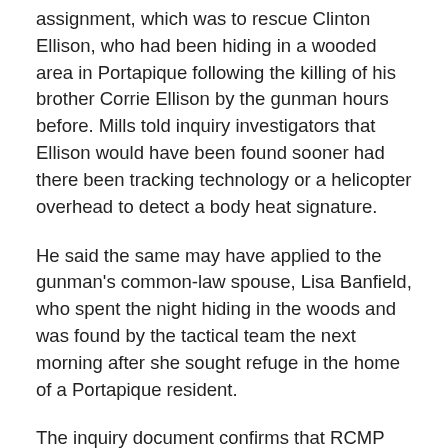assignment, which was to rescue Clinton Ellison, who had been hiding in a wooded area in Portapique following the killing of his brother Corrie Ellison by the gunman hours before. Mills told inquiry investigators that Ellison would have been found sooner had there been tracking technology or a helicopter overhead to detect a body heat signature.
He said the same may have applied to the gunman's common-law spouse, Lisa Banfield, who spent the night hiding in the woods and was found by the tactical team the next morning after she sought refuge in the home of a Portapique resident.
The inquiry document confirms that RCMP knew for certain from talking to Banfield at